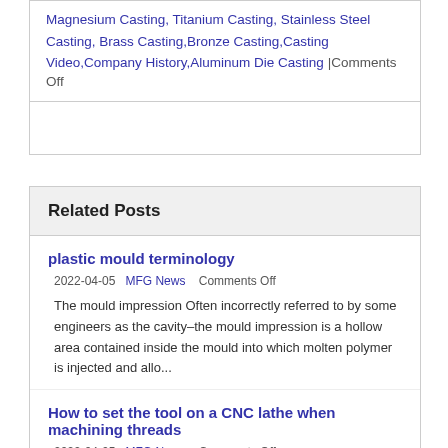Magnesium Casting, Titanium Casting, Stainless Steel Casting, Brass Casting,Bronze Casting,Casting Video,Company History,Aluminum Die Casting |Comments Off
Related Posts
plastic mould terminology
2022-04-05   MFG News   Comments Off
The mould impression Often incorrectly referred to by some engineers as the cavity–the mould impression is a hollow area contained inside the mould into which molten polymer is injected and allo...
How to set the tool on a CNC lathe when machining threads
2022-04-05   MFG News   Comments Off